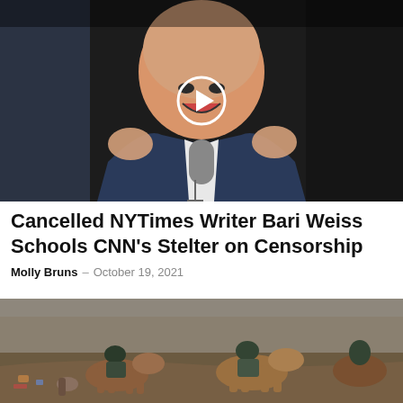[Figure (photo): A man in a suit laughing or speaking enthusiastically at a microphone, with a video play button overlay on the thumbnail]
Cancelled NYTimes Writer Bari Weiss Schools CNN's Stelter on Censorship
Molly Bruns – October 19, 2021
[Figure (photo): Horseback riders, appearing to be Border Patrol agents, in a river or muddy terrain near people on foot]